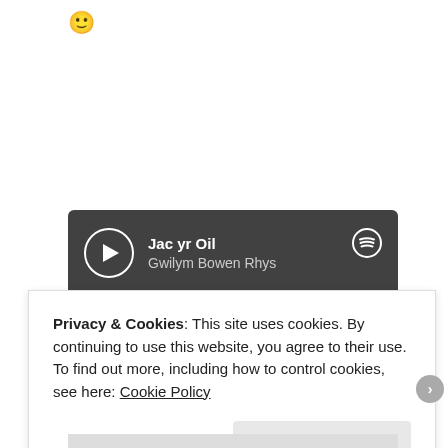[Figure (illustration): Yellow smiley face emoji]
[Figure (screenshot): Spotify embedded music player showing track 'Jac yr Oil' by Gwilym Bowen Rhys on a dark grey background with play button, progress bar, Spotify logo, and share icon. Below is a light green strip.]
Privacy & Cookies: This site uses cookies. By continuing to use this website, you agree to their use.
To find out more, including how to control cookies, see here: Cookie Policy
Close and accept